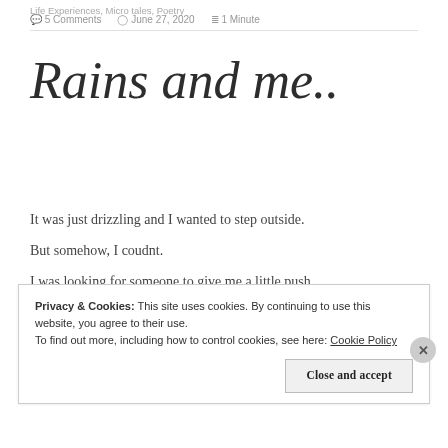Life Experiences, Micro tales, Poetry
💬 5 Comments   🕐 June 27, 2020   ≡ 1 Minute
Rains and me..
It was just drizzling and I wanted to step outside.
But somehow, I coudnt.
I was looking for someone to give me a little push,
Privacy & Cookies: This site uses cookies. By continuing to use this website, you agree to their use.
To find out more, including how to control cookies, see here: Cookie Policy
Close and accept